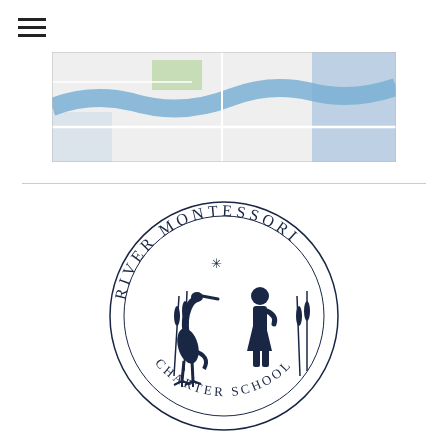[Figure (map): Street/area map showing a river (blue) and surrounding roads/buildings in light grey and blue tones.]
[Figure (logo): River Montessori Charter School circular logo featuring a heron bird silhouette and child silhouette with cattail plants, circular text reading RIVER MONTESSORI at top and CHARTER SCHOOL at bottom, dark navy color.]